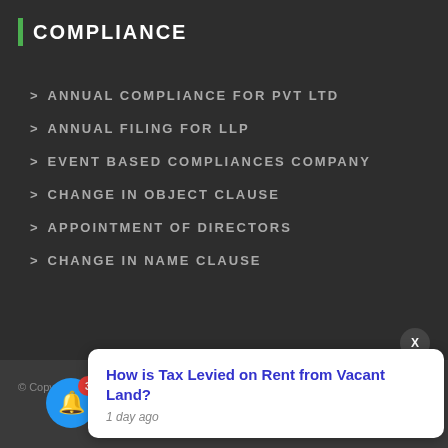COMPLIANCE
> ANNUAL COMPLIANCE FOR PVT LTD
> ANNUAL FILING FOR LLP
> EVENT BASED COMPLIANCES COMPANY
> CHANGE IN OBJECT CLAUSE
> APPOINTMENT OF DIRECTORS
> CHANGE IN NAME CLAUSE
© Copyright 202...
How is Tax Levied on Rent from Vacant Land?
1 day ago